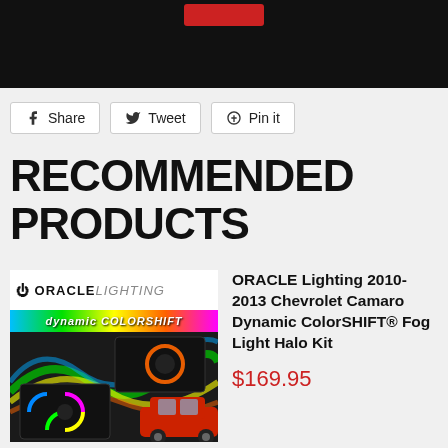[Figure (screenshot): Black background area with red button at top, partial product page screenshot]
[Figure (other): Share, Tweet, Pin it social sharing buttons]
RECOMMENDED PRODUCTS
[Figure (photo): ORACLE Lighting Dynamic ColorSHIFT fog light halo kit product image showing fog lights with colorful halos and a red Chevrolet Camaro]
ORACLE Lighting 2010-2013 Chevrolet Camaro Dynamic ColorSHIFT® Fog Light Halo Kit
$169.95